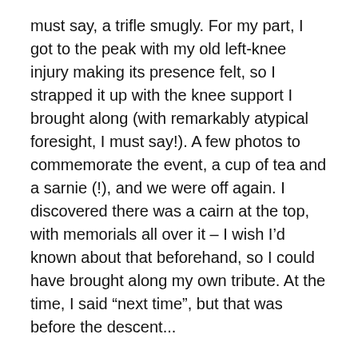must say, a trifle smugly. For my part, I got to the peak with my old left-knee injury making its presence felt, so I strapped it up with the knee support I brought along (with remarkably atypical foresight, I must say!). A few photos to commemorate the event, a cup of tea and a sarnie (!), and we were off again. I discovered there was a cairn at the top, with memorials all over it – I wish I'd known about that beforehand, so I could have brought along my own tribute. At the time, I said “next time”, but that was before the descent...
Anyone who’s gone up and down hills to any great extent will tell you what I never realised when I first injured my knee in Nepal: the downhill stuff is harder. And is it ever – climbing down slippery boulders and rocks with a stiff left leg is no fun – and it resulted in a knackered right leg by the end. But ultimately, the trip was worth it, and I’ve now been to the highest peak in the British Isles. Just Scafell